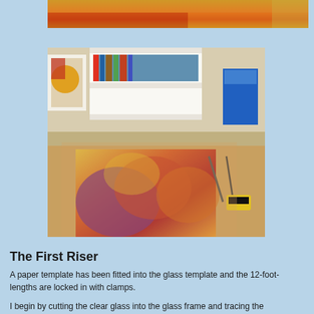[Figure (photo): Partial top view of a colorful abstract painting with warm reds, oranges, and yellows visible at the top of the page]
[Figure (photo): An artist's studio workspace showing a colorful abstract painting on a worktable with tools including pliers and a staple gun; shelves with books/CDs and artworks visible in background]
The First Riser
A paper template has been fitted into the glass template and the 12-foot-lengths are locked in with clamps.
I begin by cutting the clear glass into the glass frame and tracing the